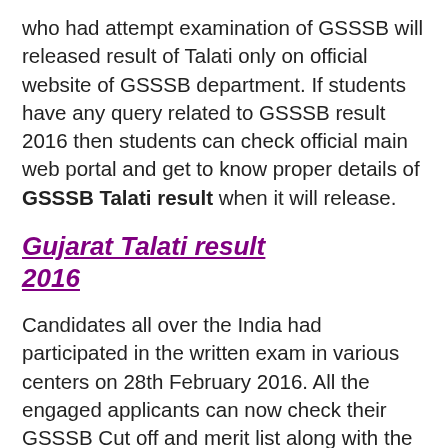who had attempt examination of GSSSB will released result of Talati only on official website of GSSSB department. If students have any query related to GSSSB result 2016 then students can check official main web portal and get to know proper details of GSSSB Talati result when it will release.
Gujarat Talati result 2016
Candidates all over the India had participated in the written exam in various centers on 28th February 2016. All the engaged applicants can now check their GSSSB Cut off and merit list along with the Results. Usually candidates are tensed to